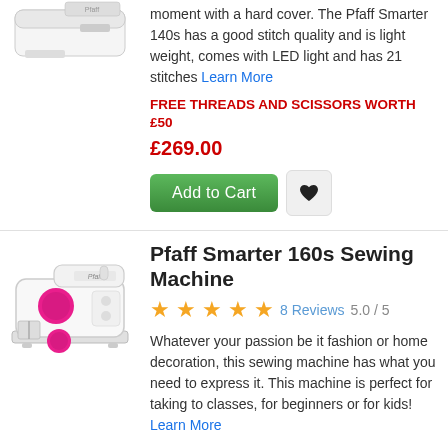[Figure (photo): Partial view of Pfaff Smarter 140s sewing machine (white, top portion)]
moment with a hard cover. The Pfaff Smarter 140s has a good stitch quality and is light weight, comes with LED light and has 21 stitches Learn More
FREE THREADS AND SCISSORS WORTH £50
£269.00
[Figure (other): Add to Cart green button and heart wishlist icon]
[Figure (photo): Pfaff Smarter 160s sewing machine (white with magenta/pink accents)]
Pfaff Smarter 160s Sewing Machine
★★★★★ 8 Reviews 5.0/5
Whatever your passion be it fashion or home decoration, this sewing machine has what you need to express it. This machine is perfect for taking to classes, for beginners or for kids! Learn More